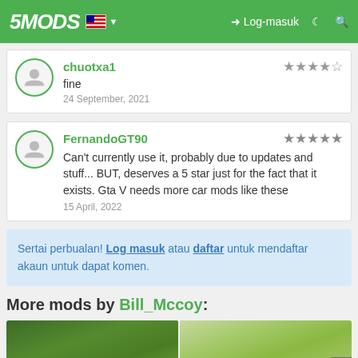5MODS — Log-masuk
chuotxa1 — fine — 24 September, 2021 — 2.5 stars
FernandoGT90 — Can't currently use it, probably due to updates and stuff... BUT, deserves a 5 star just for the fact that it exists. Gta V needs more car mods like these — 15 April, 2022 — 5 stars
Sertai perbualan! Log masuk atau daftar untuk mendaftar akaun untuk dapat komen.
More mods by Bill_Mccoy:
[Figure (photo): Green foliage car mod preview images, partially visible at bottom of page]